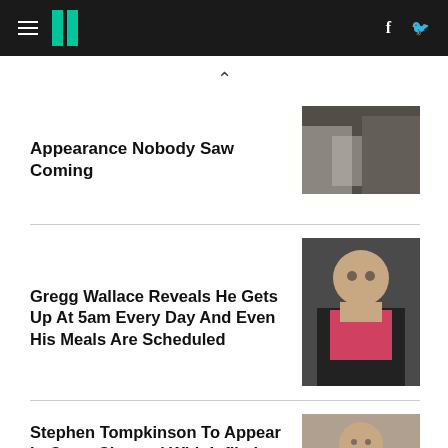HuffPost UK
Appearance Nobody Saw Coming
[Figure (photo): Concert/performance photo showing white clothing]
Gregg Wallace Reveals He Gets Up At 5am Every Day And Even His Meals Are Scheduled
[Figure (photo): Gregg Wallace wearing glasses and a pink cardigan over dark jacket]
Stephen Tompkinson To Appear In Court Charged With Inflicting GBH